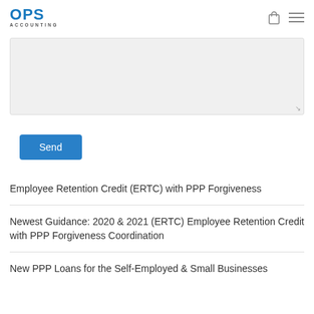OPS ACCOUNTING
[Figure (screenshot): Text area input box (grey background, resizable) for user message entry]
Send
Employee Retention Credit (ERTC) with PPP Forgiveness
Newest Guidance: 2020 & 2021 (ERTC) Employee Retention Credit with PPP Forgiveness Coordination
New PPP Loans for the Self-Employed & Small Businesses